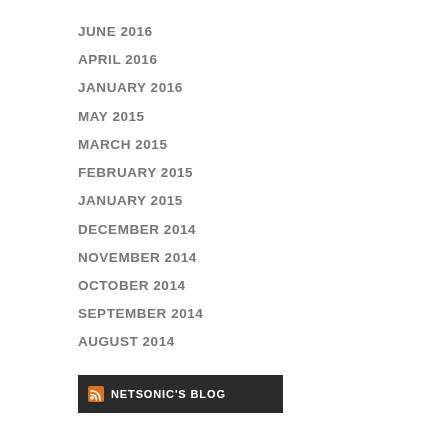JUNE 2016
APRIL 2016
JANUARY 2016
MAY 2015
MARCH 2015
FEBRUARY 2015
JANUARY 2015
DECEMBER 2014
NOVEMBER 2014
OCTOBER 2014
SEPTEMBER 2014
AUGUST 2014
NETSONIC'S BLOG